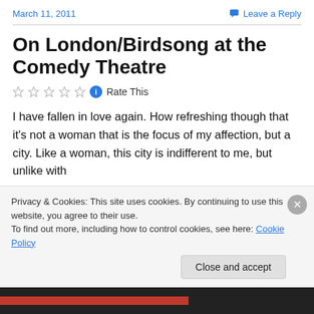March 11, 2011
Leave a Reply
On London/Birdsong at the Comedy Theatre
Rate This
I have fallen in love again. How refreshing though that it's not a woman that is the focus of my affection, but a city. Like a woman, this city is indifferent to me, but unlike with
Privacy & Cookies: This site uses cookies. By continuing to use this website, you agree to their use.
To find out more, including how to control cookies, see here: Cookie Policy
Close and accept